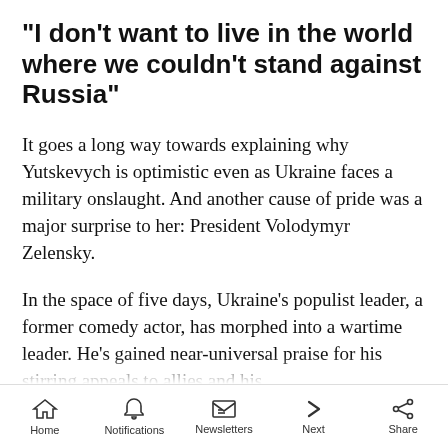"I don't want to live in the world where we couldn't stand against Russia"
It goes a long way towards explaining why Yutskevych is optimistic even as Ukraine faces a military onslaught. And another cause of pride was a major surprise to her: President Volodymyr Zelensky.
In the space of five days, Ukraine's populist leader, a former comedy actor, has morphed into a wartime leader. He's gained near-universal praise for his stirring appeals to allies and his
Home  Notifications  Newsletters  Next  Share